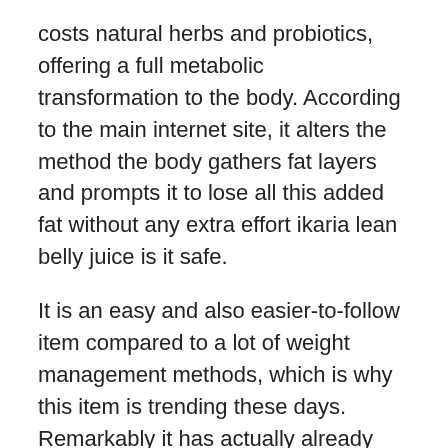costs natural herbs and probiotics, offering a full metabolic transformation to the body. According to the main internet site, it alters the method the body gathers fat layers and prompts it to lose all this added fat without any extra effort ikaria lean belly juice is it safe.
It is an easy and also easier-to-follow item compared to a lot of weight management methods, which is why this item is trending these days. Remarkably it has actually already made it to the listing of top-selling weight loss supplements of 2022 as well as is high sought after.
It is a development formula developed in a powdered type that makes its use very easy for all